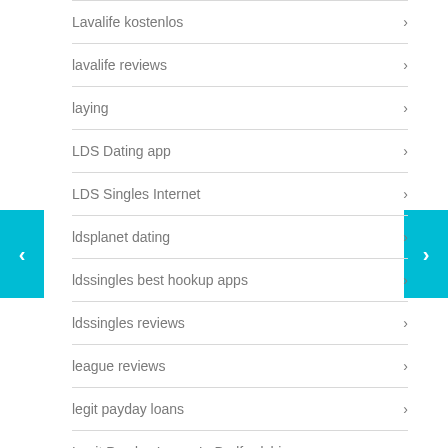Lavalife kostenlos
lavalife reviews
laying
LDS Dating app
LDS Singles Internet
ldsplanet dating
ldssingles best hookup apps
ldssingles reviews
league reviews
legit payday loans
Legit Payday Loans In Bedfordshire